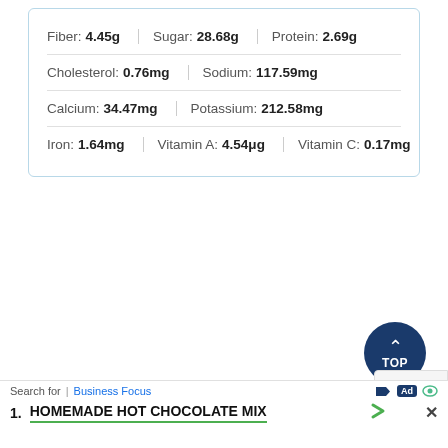Fiber: 4.45g | Sugar: 28.68g | Protein: 2.69g
Cholesterol: 0.76mg | Sodium: 117.59mg
Calcium: 34.47mg | Potassium: 212.58mg
Iron: 1.64mg | Vitamin A: 4.54μg | Vitamin C: 0.17mg
[Figure (other): Dark blue circular TOP button with upward chevron arrow]
[Figure (other): reCAPTCHA logo partial box]
Search for | Business Focus
1. HOMEMADE HOT CHOCOLATE MIX